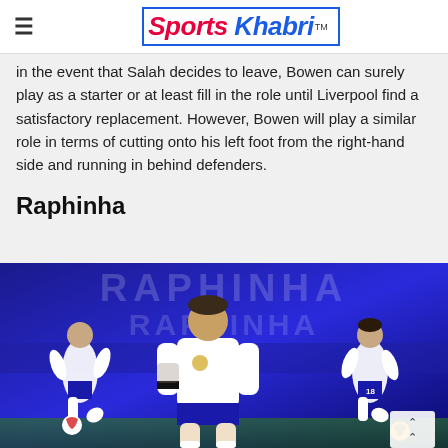Sports Khabri
In the event that Salah decides to leave, Bowen can surely play as a starter or at least fill in the role until Liverpool find a satisfactory replacement. However, Bowen will play a similar role in terms of cutting onto his left foot from the right-hand side and running in behind defenders.
Raphinha
[Figure (photo): Raphinha promotional image showing the Leeds United player in white kit, with his name in large letters in the background and two action shots on either side, set against a blue stadium background.]